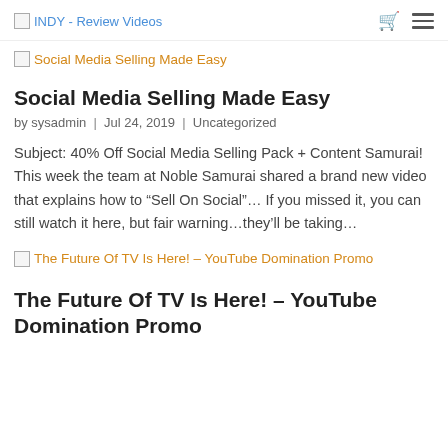INDY - Review Videos
[Figure (screenshot): Broken image placeholder for Social Media Selling Made Easy with orange link text]
Social Media Selling Made Easy
by sysadmin | Jul 24, 2019 | Uncategorized
Subject: 40% Off Social Media Selling Pack + Content Samurai! This week the team at Noble Samurai shared a brand new video that explains how to “Sell On Social”… If you missed it, you can still watch it here, but fair warning…they’ll be taking…
[Figure (screenshot): Broken image placeholder for The Future Of TV Is Here! – YouTube Domination Promo with orange link text]
The Future Of TV Is Here! – YouTube Domination Promo